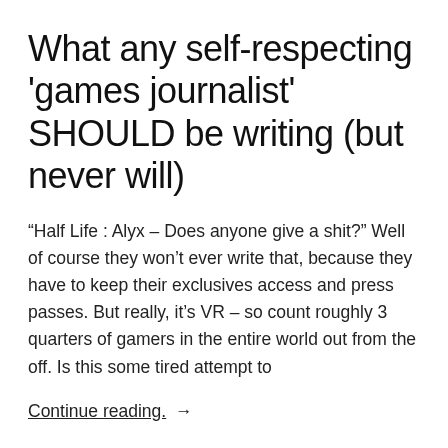What any self-respecting 'games journalist' SHOULD be writing (but never will)
“Half Life : Alyx – Does anyone give a shit?” Well of course they won’t ever write that, because they have to keep their exclusives access and press passes. But really, it’s VR – so count roughly 3 quarters of gamers in the entire world out from the off. Is this some tired attempt to
Continue reading. →